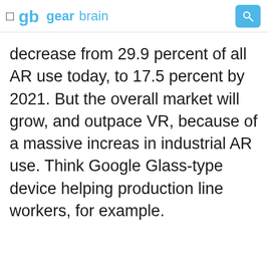gearbrain
decrease from 29.9 percent of all AR use today, to 17.5 percent by 2021. But the overall market will grow, and outpace VR, because of a massive increase in industrial AR use. Think Google Glass-type devices helping production line workers, for example.